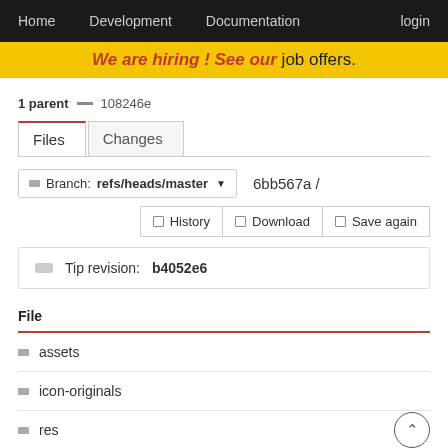Home  Development  Documentation  login
We are hiring! See our job offers.
1 parent — 108246e
Files  Changes
Branch: refs/heads/master  6bb567a /
History  Download  Save again
Tip revision: b4052e6
File
assets
icon-originals
res
scripts